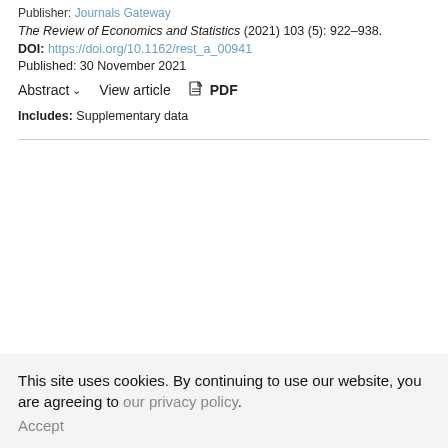Publisher: Journals Gateway
The Review of Economics and Statistics (2021) 103 (5): 922–938.
DOI: https://doi.org/10.1162/rest_a_00941
Published: 30 November 2021
Abstract ∨   View article   PDF
Includes: Supplementary data
This site uses cookies. By continuing to use our website, you are agreeing to our privacy policy. Accept